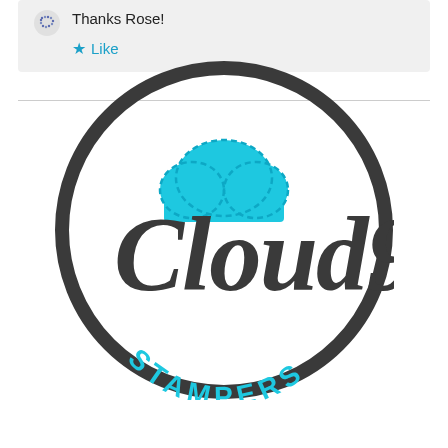Thanks Rose!
Like
[Figure (logo): Cloud9 Stampers logo: a circular dark grey badge with a bright cyan/turquoise cloud icon at the top center, and the script text 'Cloud9' in large dark grey lettering, with 'STAMPERS' in cyan capital letters at the bottom inside the circle.]